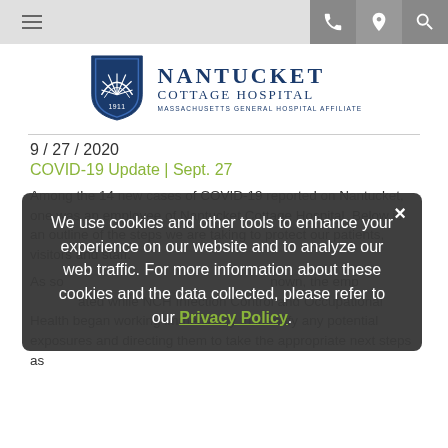Navigation bar with hamburger menu and icons
[Figure (logo): Nantucket Cottage Hospital logo with shield emblem and text 'NANTUCKET COTTAGE HOSPITAL - Massachusetts General Hospital Affiliate']
9 / 27 / 2020
COVID-19 Update | Sept. 27
Among the 14 new cases of COVID-19 reported on Nantucket, one was an employee of Nantucket Cottage Hospital. Below is an outline of the steps we are taking to protect our patients, visitors and staff.
As soon as this positive result became known, the employee was isolated while NCH Infection Control and Occupational Health began working immediately to identify any potential exposures and directing them to take the appropriate next steps as
[Figure (screenshot): Cookie consent modal overlay with text: 'We use cookies and other tools to enhance your experience on our website and to analyze our web traffic. For more information about these cookies and the data collected, please refer to our Privacy Policy.' with a close button (x) and a green Privacy Policy link]